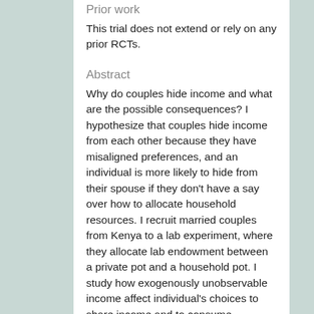Prior work
This trial does not extend or rely on any prior RCTs.
Abstract
Why do couples hide income and what are the possible consequences? I hypothesize that couples hide income from each other because they have misaligned preferences, and an individual is more likely to hide from their spouse if they don't have a say over how to allocate household resources. I recruit married couples from Kenya to a lab experiment, where they allocate lab endowment between a private pot and a household pot. I study how exogenously unobservable income affect individual's choices to share income and to consume.
In addition, I measure spousal hidden income using a household survey. I ask each individual to report their own income, savings, transfers and expenditures, as well